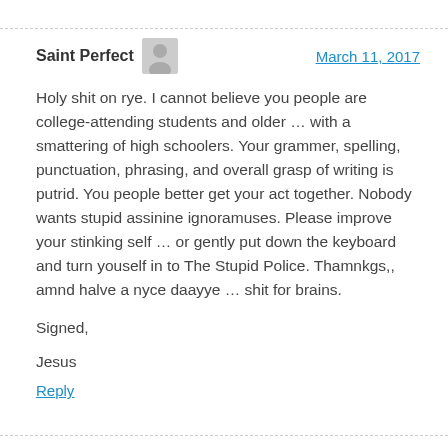Saint Perfect   March 11, 2017
Holy shit on rye. I cannot believe you people are college-attending students and older … with a smattering of high schoolers. Your grammer, spelling, punctuation, phrasing, and overall grasp of writing is putrid. You people better get your act together. Nobody wants stupid assinine ignoramuses. Please improve your stinking self … or gently put down the keyboard and turn youself in to The Stupid Police. Thamnkgs,, amnd halve a nyce daayye … shit for brains.
Signed,
Jesus
Reply